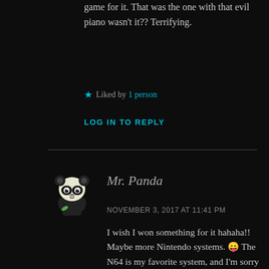game for it. That was the one with that evil piano wasn't it?? Terrifying.
★ Liked by 1 person
LOG IN TO REPLY
Mr. Panda
NOVEMBER 3, 2017 AT 11:41 PM
I wish I won something for it hahaha!! Maybe more Nintendo systems. 😛 The N64 is my favorite system, and I'm sorry you didn't get to enjoy it as much. Boo migraines. There was